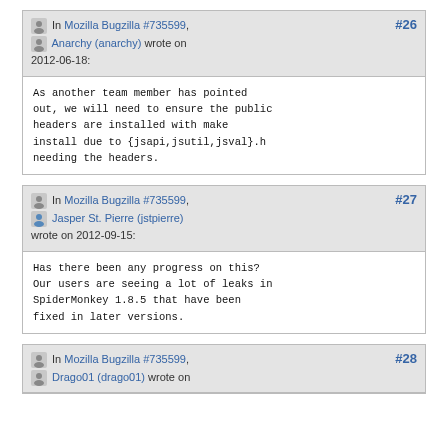In Mozilla Bugzilla #735599, Anarchy (anarchy) wrote on 2012-06-18: #26
As another team member has pointed out, we will need to ensure the public headers are installed with make install due to {jsapi,jsutil,jsval}.h needing the headers.
In Mozilla Bugzilla #735599, Jasper St. Pierre (jstpierre) wrote on 2012-09-15: #27
Has there been any progress on this? Our users are seeing a lot of leaks in SpiderMonkey 1.8.5 that have been fixed in later versions.
In Mozilla Bugzilla #735599, Drago01 (drago01) wrote on #28